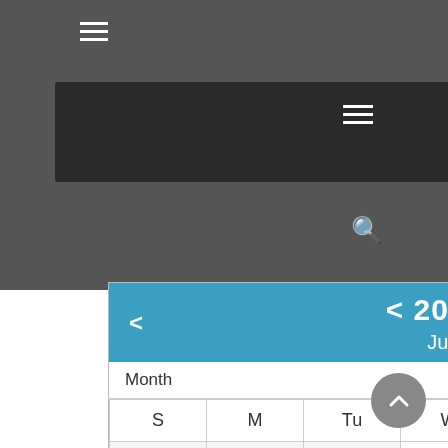[Figure (screenshot): Navigation bar with hamburger menu icon at top left and right, search icon, and a calendar widget showing June 2022 with year navigation arrows. Calendar displays days S M Tu W Th F S with dates 1-30. Blue dots appear on June 9, 16, 18, 24, 25, 26. Weekend Saturdays shaded grey.]